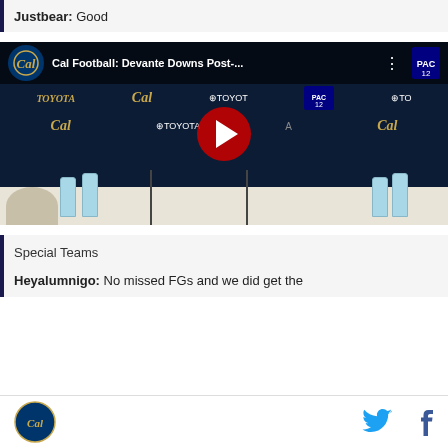Justbear: Good
[Figure (screenshot): YouTube video thumbnail showing Cal Football: Devante Downs Post-... press conference video with a play button overlay. Background shows Cal and Toyota sponsorship logos. A football player sits at a press conference table.]
Special Teams
Heyalumnigo: No missed FGs and we did get the
Cal Bears logo, Twitter icon, Facebook icon